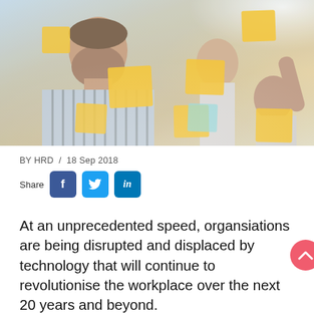[Figure (photo): People in an office brainstorming, placing yellow sticky notes on a glass wall, viewed through the glass.]
BY HRD  /  18 Sep 2018
Share
At an unprecedented speed, organsiations are being disrupted and displaced by technology that will continue to revolutionise the workplace over the next 20 years and beyond.